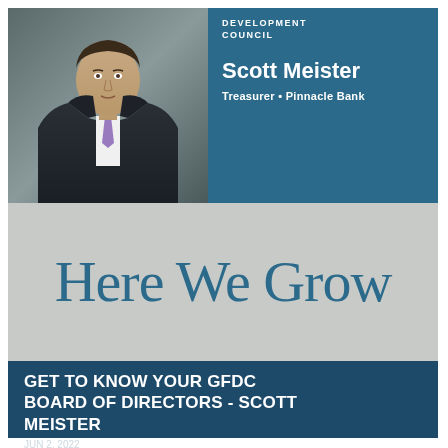[Figure (photo): Professional headshot of Scott Meister in a dark suit and purple tie on teal background panel]
DEVELOPMENT COUNCIL
Scott Meister
Treasurer • Pinnacle Bank
[Figure (illustration): Here We Grow script text on grey background]
GET TO KNOW YOUR GFDC BOARD OF DIRECTORS - SCOTT MEISTER
JUN 2, 2022